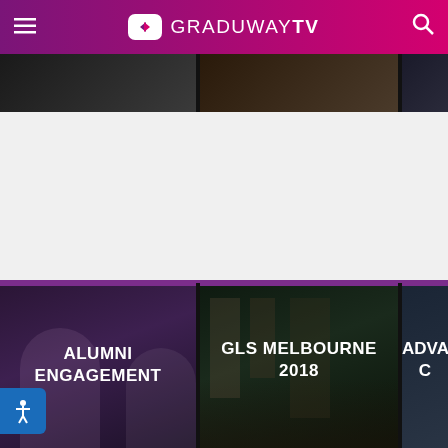GRADUWAY TV
[Figure (screenshot): Top thumbnail image strip showing partial video thumbnails]
[Figure (screenshot): Video channel card: ALUMNI ENGAGEMENT]
[Figure (screenshot): Video channel card: GLS MELBOURNE 2018]
[Figure (screenshot): Video channel card: ADVANC... (partially visible)]
GRADUWAY TV
SHARE